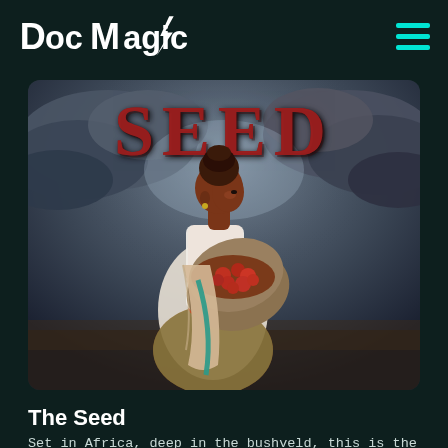Doc Magic
[Figure (illustration): Book cover showing a woman carrying a basket of red fruit on her back, set against a dramatic stormy sky background. The word SEED appears in large dark red letters at the top.]
The Seed
Set in Africa, deep in the bushveld, this is the story of a seed. Its succulent red fruit fascinates the